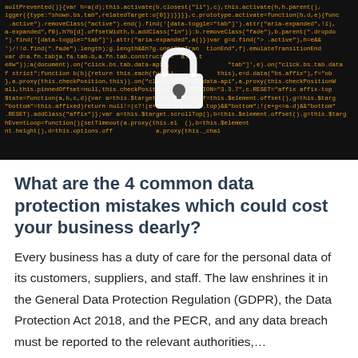[Figure (photo): Dark background with orange/amber code text (JavaScript/jQuery code) and a white padlock icon with a keyhole centered over the code, representing cybersecurity and data protection.]
What are the 4 common data protection mistakes which could cost your business dearly?
Every business has a duty of care for the personal data of its customers, suppliers, and staff. The law enshrines it in the General Data Protection Regulation (GDPR), the Data Protection Act 2018, and the PECR, and any data breach must be reported to the relevant authorities,…